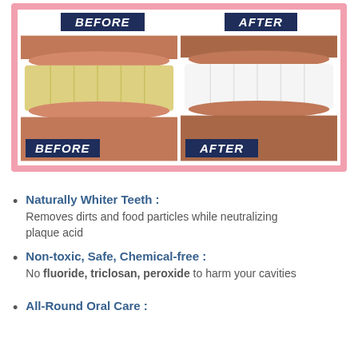[Figure (photo): Before and after teeth whitening comparison. Left side shows yellow/stained teeth labeled BEFORE, right side shows bright white teeth labeled AFTER. Both top and bottom labels visible.]
Naturally Whiter Teeth : Removes dirts and food particles while neutralizing plaque acid
Non-toxic, Safe, Chemical-free : No fluoride, triclosan, peroxide to harm your cavities
All-Round Oral Care :